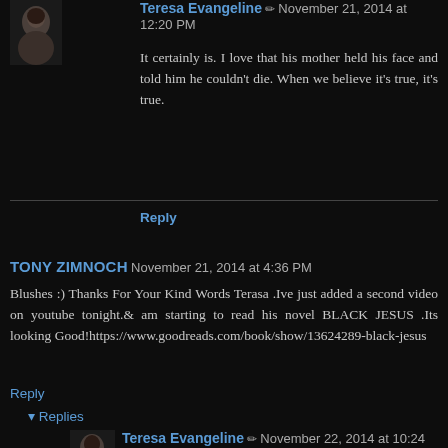[Figure (photo): Small circular avatar photo of Teresa Evangeline, dark hair, top-left of first comment]
Teresa Evangeline ✏ November 21, 2014 at 12:20 PM
It certainly is. I love that his mother held his face and told him he couldn't die. When we believe it's true, it's true.
Reply
TONY ZIMNOCH November 21, 2014 at 4:36 PM
Blushes :) Thanks For Your Kind Words Terasa .Ive just added a second video on youtube tonight.& am starting to read his novel BLACK JESUS .Its looking Good!https://www.goodreads.com/book/show/13624289-black-jesus
Reply
▾ Replies
[Figure (photo): Small circular avatar photo of Teresa Evangeline, bottom of page]
Teresa Evangeline ✏ November 22, 2014 at 10:24 AM